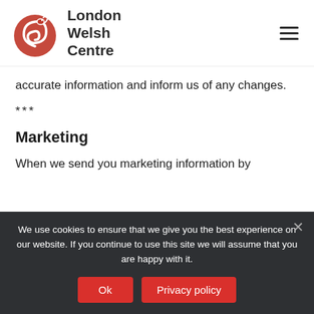London Welsh Centre
accurate information and inform us of any changes.
***
Marketing
When we send you marketing information by
We use cookies to ensure that we give you the best experience on our website. If you continue to use this site we will assume that you are happy with it.